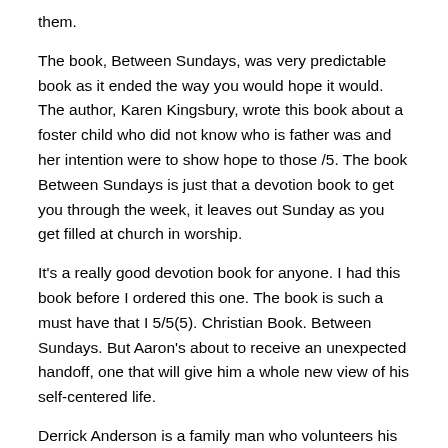them.
The book, Between Sundays, was very predictable book as it ended the way you would hope it would. The author, Karen Kingsbury, wrote this book about a foster child who did not know who is father was and her intention were to show hope to those /5. The book Between Sundays is just that a devotion book to get you through the week, it leaves out Sunday as you get filled at church in worship.
It's a really good devotion book for anyone. I had this book before I ordered this one. The book is such a must have that I 5/5(5). Christian Book. Between Sundays. But Aaron's about to receive an unexpected handoff, one that will give him a whole new view of his self-centered life.
Derrick Anderson is a family man who volunteers his time with foster kids while sustaining a long career as a pro football player. But now he's looking for a.
Between Sundays Hardcover – November 5, by Karen Kingsbury the book / find about Between Sundays. But Well...